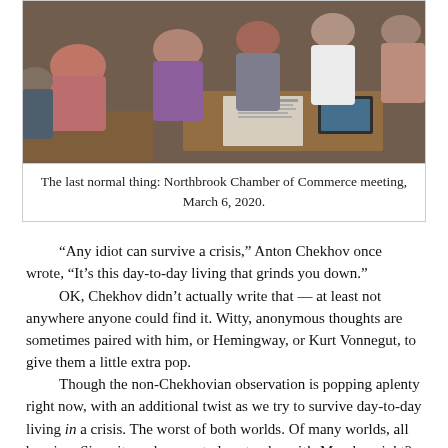[Figure (photo): A group of people seated around tables at a meeting, viewed from above and behind. Papers and devices are visible on the tables. A warm indoor setting.]
The last normal thing: Northbrook Chamber of Commerce meeting, March 6, 2020.
“Any idiot can survive a crisis,” Anton Chekhov once wrote, “It’s this day-to-day living that grinds you down.”
OK, Chekhov didn’t actually write that — at least not anywhere anyone could find it. Witty, anonymous thoughts are sometimes paired with him, or Hemingway, or Kurt Vonnegut, to give them a little extra pop.
Though the non-Chekhovian observation is popping aplenty right now, with an additional twist as we try to survive day-to-day living in a crisis. The worst of both worlds. Of many worlds, all burning. Since it can be easy to lose track — it’s Monday, right? — let’s review.
Mid-July in the Plague Year of 2020. Four months since what I consider the last normal thing, the March Northbrook Chamber of